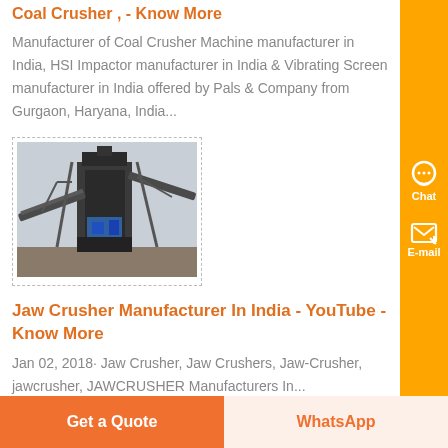Coal Crusher , - Know More
Manufacturer of Coal Crusher Machine manufacturer in India, HSI Impactor manufacturer in India & Vibrating Screen manufacturer in India offered by Pals & Company from Gurgaon, Haryana, India...
[Figure (photo): Industrial jaw crusher / coal crusher machinery photo showing large metal framework structure with conveyors]
Jaw Crusher Manufacturer In India - YouTube - Know More
Jan 02, 2018· Jaw Crusher, Jaw Crushers, Jaw-Crusher, jawcrusher, JAWCRUSHER Manufacturers In...
Get a Quote | WhatsApp